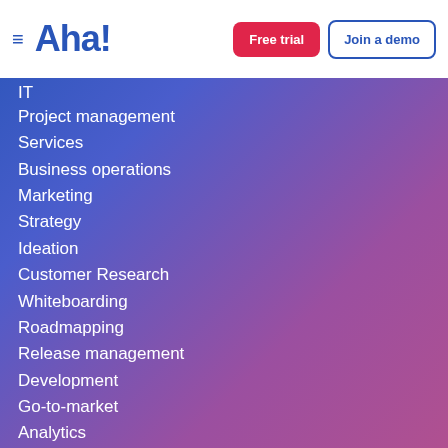Aha! — Free trial | Join a demo
IT
Project management
Services
Business operations
Marketing
Strategy
Ideation
Customer Research
Whiteboarding
Roadmapping
Release management
Development
Go-to-market
Analytics
Resources
Aha! blog
Engineering blog
Customer stories
Support knowledge base